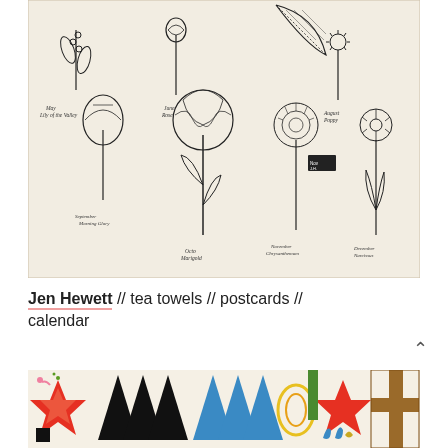[Figure (illustration): Hand-drawn botanical illustration on cream/linen fabric tea towel showing various flowers with handwritten labels including 'May lily of the valley', 'June Rose', 'October Daisy', 'September Morning Glory', 'October Marigold', 'November Chrysanthemum', 'August Poppy', 'December Narcissus']
Jen Hewett // tea towels // postcards // calendar
[Figure (illustration): Colorful graphic print with bold geometric shapes including stars, triangles, arrows in red, blue, orange, black, green, yellow, and brown on a cream background]